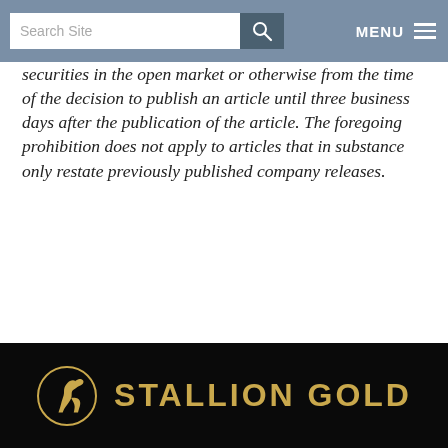Search Site | MENU
securities in the open market or otherwise from the time of the decision to publish an article until three business days after the publication of the article. The foregoing prohibition does not apply to articles that in substance only restate previously published company releases.
TICKERS: ESK; ESKYF
[Figure (logo): Stallion Gold company logo on black background with gold horse icon in circle and gold text reading STALLION GOLD]